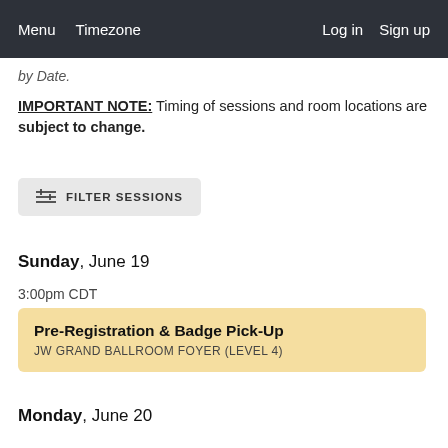Menu  Timezone  Log in  Sign up
by Date.
IMPORTANT NOTE: Timing of sessions and room locations are subject to change.
[Figure (other): Filter Sessions button with sliders icon]
Sunday, June 19
3:00pm CDT
| Pre-Registration & Badge Pick-Up | JW GRAND BALLROOM FOYER (LEVEL 4) |
Monday, June 20